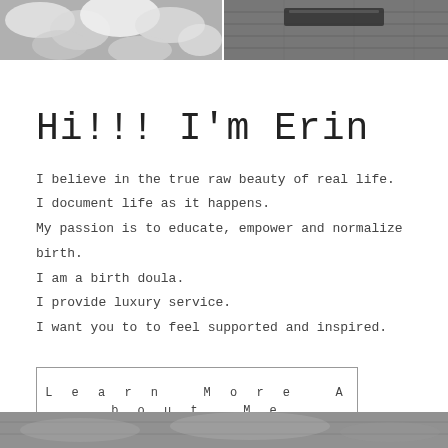[Figure (photo): Two black and white photos side by side at top: left photo shows blurry white flowers/clouds, right photo shows wooden floor with a dark object]
Hi!!! I'm Erin
I believe in the true raw beauty of real life.
I document life as it happens.
My passion is to educate, empower and normalize birth.
I am a birth doula.
I provide luxury service.
I want you to to feel supported and inspired.
Learn More About Me
[Figure (photo): Black and white photo at the bottom of the page, partially visible]